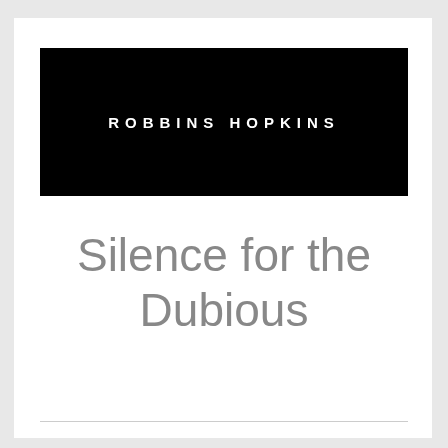[Figure (logo): Black rectangular banner with white bold uppercase text reading 'ROBBINS HOPKINS' with wide letter-spacing]
Silence for the Dubious